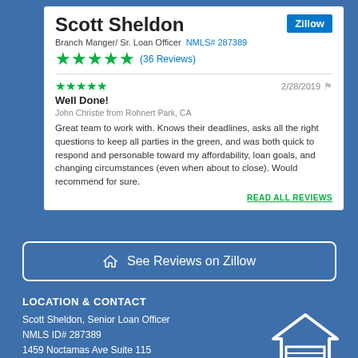Scott Sheldon
Branch Manger/ Sr. Loan Officer  NMLS# 287389
★★★★★ (36 Reviews)
★★★★★  2/28/2019
Well Done!
John Christie from Rohnert Park, CA
Great team to work with. Knows their deadlines, asks all the right questions to keep all parties in the green, and was both quick to respond and personable toward my affordability, loan goals, and changing circumstances (even when about to close). Would recommend for sure.
READ ALL REVIEWS
🏠 See Reviews on Zillow
LOCATION & CONTACT
Scott Sheldon, Senior Loan Officer
NMLS ID# 287389
1459 Noctamas Ave Suite 115